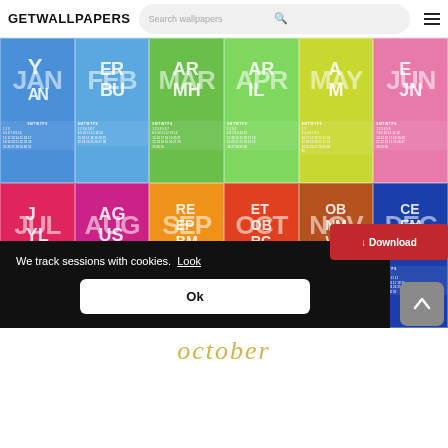GETWALLPAPERS
[Figure (screenshot): A 12-month colorful calendar wallpaper shown as a grid of 6 columns × 2 rows, each cell showing a month abbreviation in large decorative letters with a small calendar grid below. Top row (blue): JAN, (blue) FEB, (green) MAR, (green) APR, (yellow-green) MAY, (pink) JUN. Bottom row (crimson) JUL, (magenta) AUG, (orange) SEP, (red-orange) OCT, (brown) NOV, (navy) DEC. Overlay text: '1920x1200 Desktop C...']
We track sessions with cookies.  Look
Ok
↓ Download